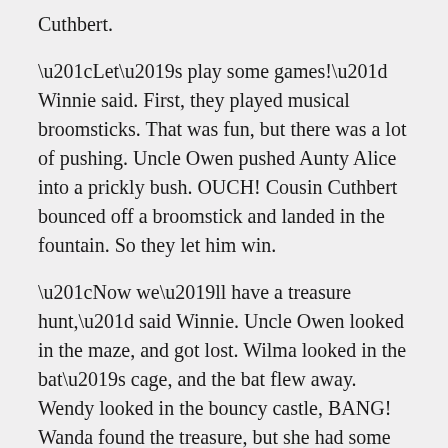Cuthbert.
“Let’s play some games!” Winnie said. First, they played musical broomsticks. That was fun, but there was a lot of pushing. Uncle Owen pushed Aunty Alice into a prickly bush. OUCH! Cousin Cuthbert bounced off a broomstick and landed in the fountain. So they let him win.
“Now we’ll have a treasure hunt,” said Winnie. Uncle Owen looked in the maze, and got lost. Wilma looked in the bat’s cage, and the bat flew away. Wendy looked in the bouncy castle, BANG! Wanda found the treasure, but she had some help.